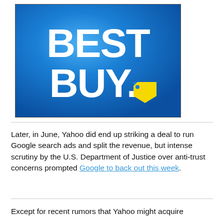[Figure (logo): Best Buy logo — white bold text 'BEST BUY.' with a yellow price-tag icon on a blue gradient background]
Later, in June, Yahoo did end up striking a deal to run Google search ads and split the revenue, but intense scrutiny by the U.S. Department of Justice over anti-trust concerns prompted Google to back out this week.
Except for recent rumors that Yahoo might acquire